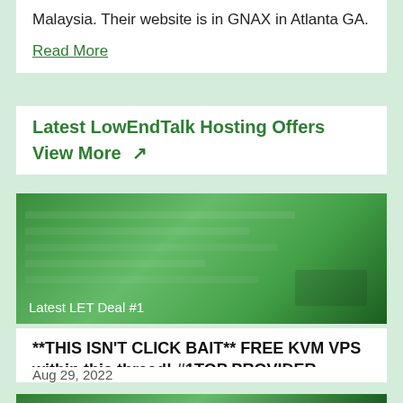Malaysia. Their website is in GNAX in Atlanta GA.
Read More
Latest LowEndTalk Hosting Offers
View More ↗
[Figure (screenshot): Blurred green screenshot labeled 'Latest LET Deal #1']
**THIS ISN'T CLICK BAIT** FREE KVM VPS within this thread! #1TOP PROVIDER
Aug 29, 2022
[Figure (screenshot): Partial green screenshot at bottom of page]